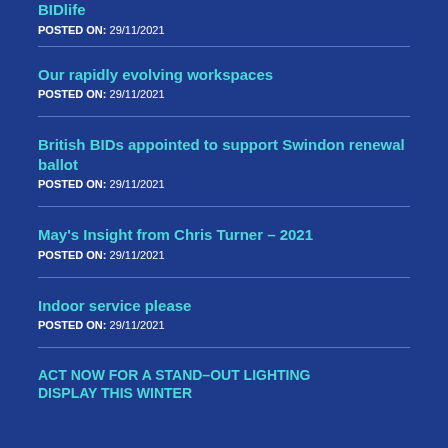BIDlife
POSTED ON: 29/11/2021
Our rapidly evolving workspaces
POSTED ON: 29/11/2021
British BIDs appointed to support Swindon renewal ballot
POSTED ON: 29/11/2021
May's Insight from Chris Turner – 2021
POSTED ON: 29/11/2021
Indoor service please
POSTED ON: 29/11/2021
ACT NOW FOR A STAND–OUT LIGHTING DISPLAY THIS WINTER